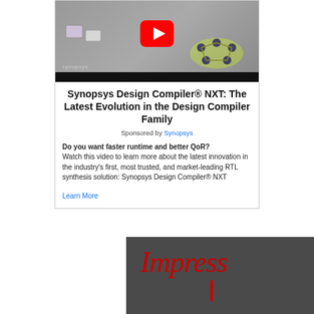[Figure (screenshot): Synopsys Design Compiler NXT video thumbnail with YouTube play button, showing chip design graphic and Synopsys logo]
Synopsys Design Compiler® NXT: The Latest Evolution in the Design Compiler Family
Sponsored by Synopsys
Do you want faster runtime and better QoR? Watch this video to learn more about the latest innovation in the industry's first, most trusted, and market-leading RTL synthesis solution: Synopsys Design Compiler® NXT
Learn More
[Figure (screenshot): Dark gray background with red italic 'Impress' text, partial view of second advertisement]